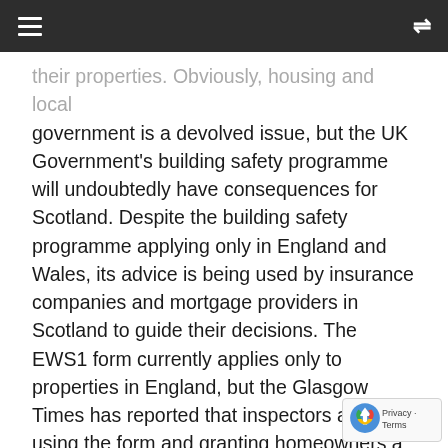≡  [shuffle icon]
their properties. Obviously, housing and local government is a devolved issue, but the UK Government's building safety programme will undoubtedly have consequences for Scotland. Despite the building safety programme applying only in England and Wales, its advice is being used by insurance companies and mortgage providers in Scotland to guide their decisions. The EWS1 form currently applies only to properties in England, but the Glasgow Times has reported that inspectors are using the form and granting homeowners a certificate of safety. Without the EWS1 being law, homeowners are looking towards England's cladding situation as guidance.
While these decisions by the UK Government are positive for improving safety, they have meant that